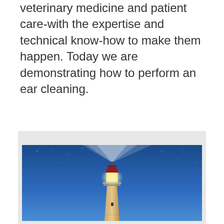veterinary medicine and patient care-with the expertise and technical know-how to make them happen. Today we are demonstrating how to perform an ear cleaning.
[Figure (photo): A tall white lighthouse illuminated at the top with a bright light beam spreading upward against a deep blue starry night sky. The lighthouse structure is narrow and tapers toward the top where a red-capped lamp room glows warmly.]